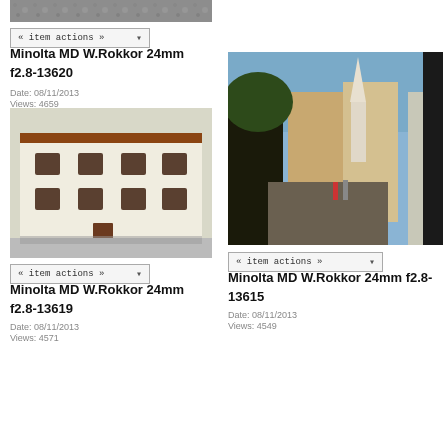[Figure (photo): Partial photo visible at top left, showing a textured/rocky surface cropped at top of page]
« item actions »
Minolta MD W.Rokkor 24mm f2.8-13620
Date: 08/11/2013
Views: 4659
[Figure (photo): Photo of a white classical European building with ornate windows and brown door, street scene with shadows]
« item actions »
Minolta MD W.Rokkor 24mm f2.8-13619
Date: 08/11/2013
Views: 4571
[Figure (photo): Photo of a European street scene with tall church spire in background, trees and people walking, dark foreground]
« item actions »
Minolta MD W.Rokkor 24mm f2.8-13615
Date: 08/11/2013
Views: 4549